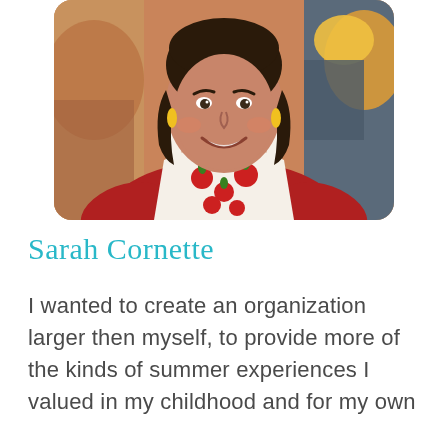[Figure (photo): Portrait photo of Sarah Cornette, a woman with dark shoulder-length hair, smiling, wearing a red shirt and a white apron with red tomato print, set against a colorful blurred background.]
Sarah Cornette
I wanted to create an organization larger then myself, to provide more of the kinds of summer experiences I valued in my childhood and for my own